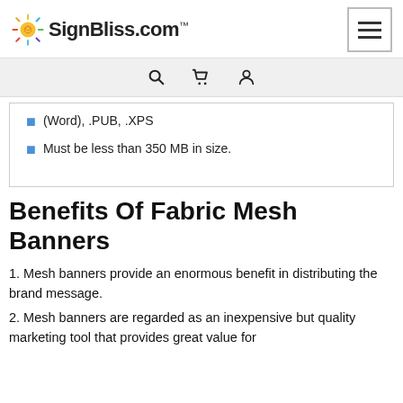SignBliss.com™
(Word), .PUB, .XPS
Must be less than 350 MB in size.
Benefits Of Fabric Mesh Banners
1. Mesh banners provide an enormous benefit in distributing the brand message.
2. Mesh banners are regarded as an inexpensive but quality marketing tool that provides great value for